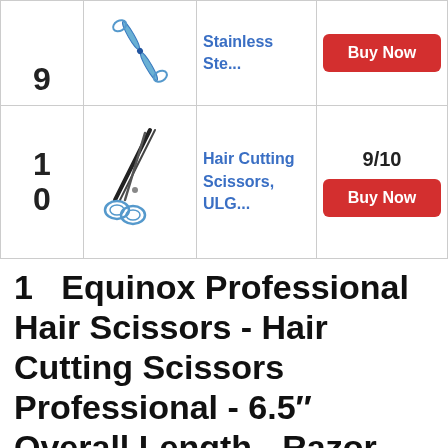| # | Image | Product | Score/Action |
| --- | --- | --- | --- |
| 9 | [scissors image] | Stainless Ste... | Buy Now |
| 10 | [scissors image] | Hair Cutting Scissors, ULG... | 9/10
Buy Now |
1   Equinox Professional Hair Scissors - Hair Cutting Scissors Professional - 6.5″ Overall Length - Razor Edge Barber Scissors for Men and Women - Premium